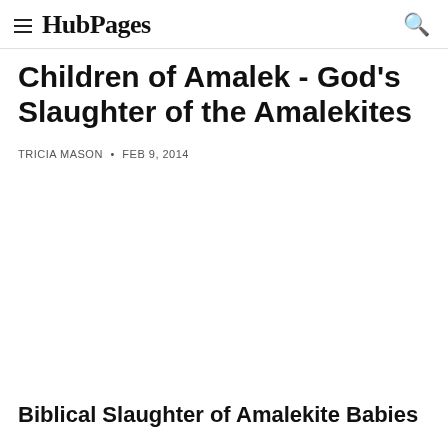HubPages
Children of Amalek - God's Slaughter of the Amalekites
TRICIA MASON • FEB 9, 2014
Biblical Slaughter of Amalekite Babies